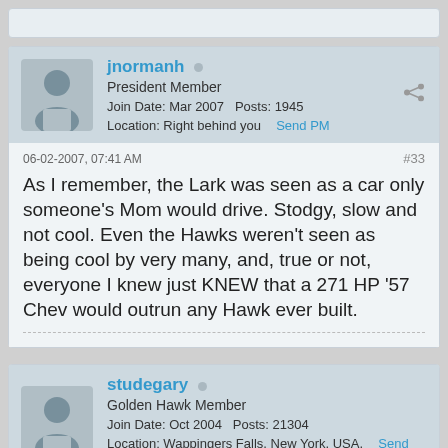[Figure (screenshot): Forum post stub at top of page]
jnormanh
President Member
Join Date: Mar 2007   Posts: 1945
Location: Right behind you   Send PM
06-02-2007, 07:41 AM
#33
As I remember, the Lark was seen as a car only someone's Mom would drive. Stodgy, slow and not cool. Even the Hawks weren't seen as being cool by very many, and, true or not, everyone I knew just KNEW that a 271 HP '57 Chev would outrun any Hawk ever built.
studegary
Golden Hawk Member
Join Date: Oct 2004   Posts: 21304
Location: Wappingers Falls, New York, USA.   Send PM
06-02-2007, 09:52 AM